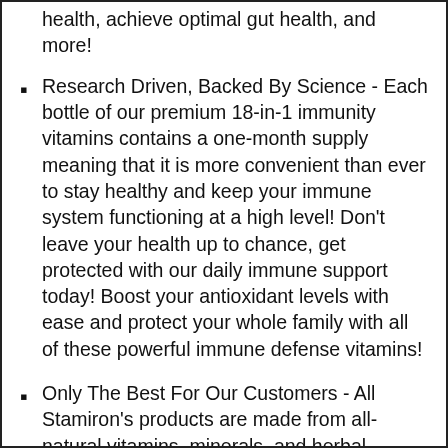health, achieve optimal gut health, and more!
Research Driven, Backed By Science - Each bottle of our premium 18-in-1 immunity vitamins contains a one-month supply meaning that it is more convenient than ever to stay healthy and keep your immune system functioning at a high level! Don't leave your health up to chance, get protected with our daily immune support today! Boost your antioxidant levels with ease and protect your whole family with all of these powerful immune defense vitamins!
Only The Best For Our Customers - All Stamiron's products are made from all-natural vitamins, minerals, and herbal extracts, without the use of harmful additives; Free of hormones, gluten, and dairy. All products are packaged in the USA in a registered certified laboratory. This formula